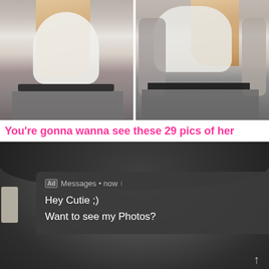[Figure (photo): Two-panel photo showing a person from the torso down wearing a white shirt, grey cardigan, and black pants/leggings, with blonde/pink hair visible. Image appears split into two side-by-side panels.]
You're gonna wanna see these 29 pics of her
[Figure (screenshot): Screenshot of a mobile notification/popup overlay on a dark background photo. The popup is a dark grey rounded rectangle showing: Ad badge, 'Messages • now', close X button, 'Hey Cutie ;) Want to see my Photos?' text, and a thumbnail image of a person. An upward arrow appears at bottom right.]